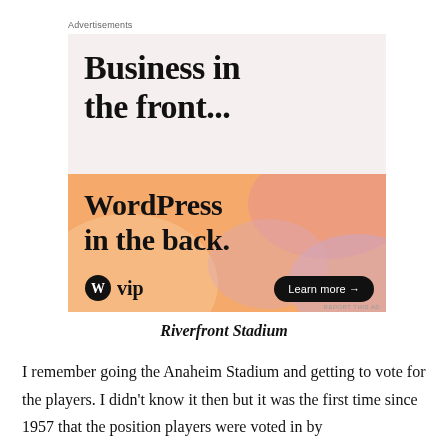Advertisements
[Figure (illustration): WordPress VIP advertisement. Top half on light beige background reads 'Business in the front...' in large bold serif text. Bottom half on orange/peach gradient background reads 'WordPress in the back.' with WordPress VIP logo on left and 'Learn more →' button on right.]
Riverfront Stadium
I remember going the Anaheim Stadium and getting to vote for the players. I didn't know it then but it was the first time since 1957 that the position players were voted in by